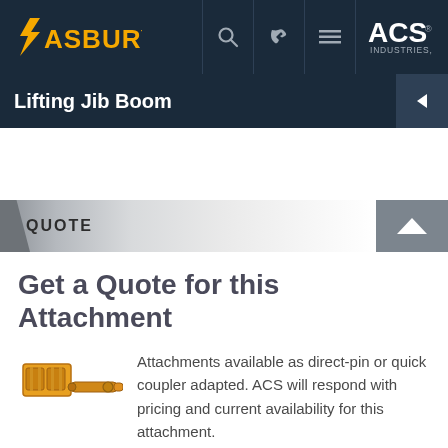[Figure (screenshot): Asbury / ACS Industries navigation bar with logo, search icon, phone icon, menu icon]
Lifting Jib Boom
QUOTE
Get a Quote for this Attachment
[Figure (illustration): Small yellow/orange jib boom attachment icon]
Attachments available as direct-pin or quick coupler adapted. ACS will respond with pricing and current availability for this attachment.